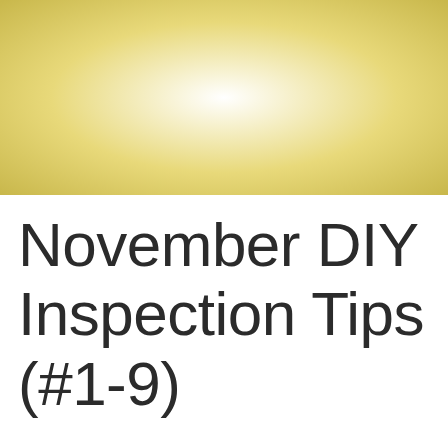[Figure (illustration): Gold and white gradient banner background, corners gold fading to bright white center]
November DIY Inspection Tips (#1-9)